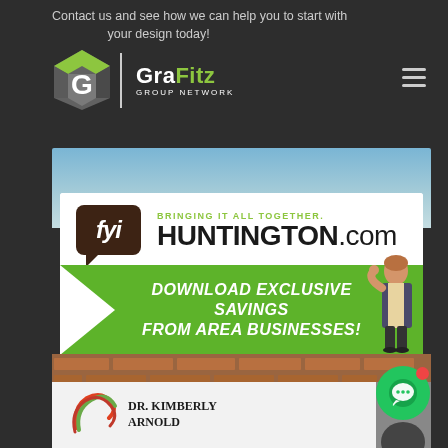Contact us and see how we can help you to start with your design today!
[Figure (logo): GraFitz Group Network logo with stylized G icon and hamburger menu]
[Figure (photo): Billboard advertisement for fyiHUNTINGTON.com - Bringing It All Together. Download Exclusive Savings From Area Businesses!]
[Figure (photo): Bottom portion of Dr. Kimberly Arnold advertisement with logo and portrait]